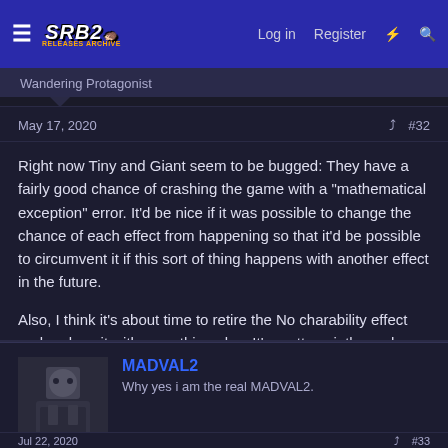SRB2 | Log in | Register
Wandering Protagonist
May 17, 2020
#32
Right now Tiny and Giant seem to be bugged: They have a fairly good chance of crashing the game with a "mathematical exception" error. It'd be nice if it was possible to change the chance of each effect from happening so that it'd be possible to circumvent it if this sort of thing happens with another effect in the future.

Also, I think it's about time to retire the No charability effect and replace it with something else. It's pretty pointless when the vast majority of characters are not affected by it at all.
MADVAL2
Why yes i am the real MADVAL2.
Jul 22, 2020
#33